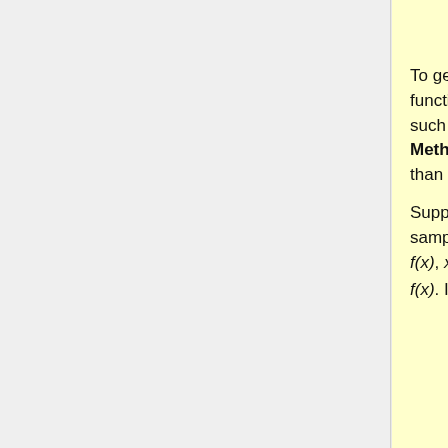to find the inverse
To generate random samples for these functions, we will use different methods, such as the Acceptance-Rejection Method. This method is more efficient than the inverse transform method.
Suppose we want to draw random sample from a target density function f(x), x∈S_x, where S_x is the support of f(x). If we